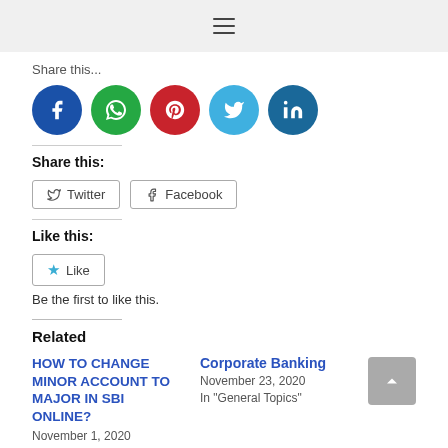≡
Share this...
[Figure (infographic): Row of 5 social media icon circles: Facebook (blue), WhatsApp (green), Pinterest (red), Twitter (light blue), LinkedIn (dark blue)]
Share this:
[Figure (infographic): Twitter and Facebook share buttons with icons]
Like this:
[Figure (infographic): Like button with star icon]
Be the first to like this.
Related
HOW TO CHANGE MINOR ACCOUNT TO MAJOR IN SBI ONLINE?
November 1, 2020
Corporate Banking
November 23, 2020
In "General Topics"